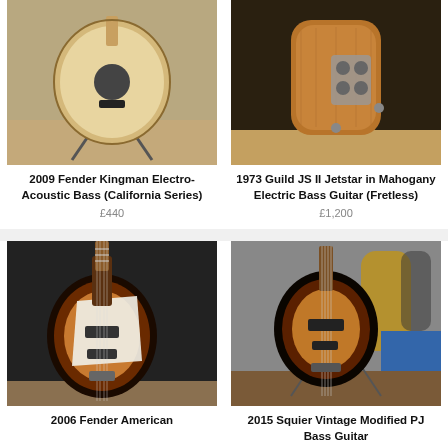[Figure (photo): 2009 Fender Kingman Electro-Acoustic Bass guitar on stand, natural wood body, store background]
2009 Fender Kingman Electro-Acoustic Bass (California Series)
£440
[Figure (photo): 1973 Guild JS II Jetstar Mahogany Electric Bass Guitar back view, brownish finish, on stand]
1973 Guild JS II Jetstar in Mahogany Electric Bass Guitar (Fretless)
£1,200
[Figure (photo): 2006 Fender American Jazz Bass in sunburst finish, front view]
2006 Fender American
[Figure (photo): 2015 Squier Vintage Modified PJ Bass Guitar in sunburst, music store background with other guitars]
2015 Squier Vintage Modified PJ Bass Guitar